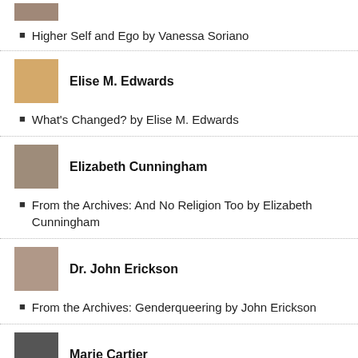[Figure (photo): Partial author photo at top]
Higher Self and Ego by Vanessa Soriano
[Figure (photo): Photo of Elise M. Edwards]
Elise M. Edwards
What's Changed? by Elise M. Edwards
[Figure (photo): Photo of Elizabeth Cunningham]
Elizabeth Cunningham
From the Archives: And No Religion Too by Elizabeth Cunningham
[Figure (photo): Photo of Dr. John Erickson]
Dr. John Erickson
From the Archives: Genderqueering by John Erickson
[Figure (photo): Photo of Marie Cartier]
Marie Cartier
“Guns: The Sanctity of Life” by Marie Cartier
[Figure (photo): Partial photo of Feminism and Religion author]
Feminism and Religion